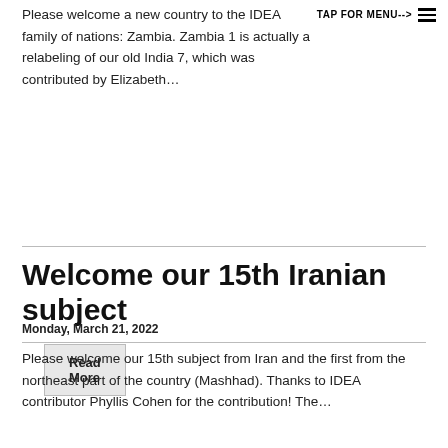TAP FOR MENU-->
Please welcome a new country to the IDEA family of nations: Zambia. Zambia 1 is actually a relabeling of our old India 7, which was contributed by Elizabeth…
Read More
Welcome our 15th Iranian subject
Monday, March 21, 2022
Please welcome our 15th subject from Iran and the first from the northeast part of the country (Mashhad). Thanks to IDEA contributor Phyllis Cohen for the contribution! The…